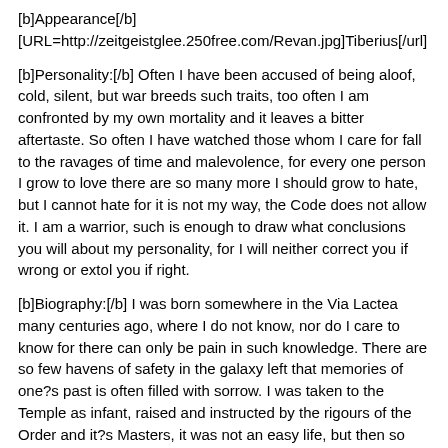[b]Appearance[/b]
[URL=http://zeitgeistglee.250free.com/Revan.jpg]Tiberius[/url]
[b]Personality:[/b] Often I have been accused of being aloof, cold, silent, but war breeds such traits, too often I am confronted by my own mortality and it leaves a bitter aftertaste. So often I have watched those whom I care for fall to the ravages of time and malevolence, for every one person I grow to love there are so many more I should grow to hate, but I cannot hate for it is not my way, the Code does not allow it. I am a warrior, such is enough to draw what conclusions you will about my personality, for I will neither correct you if wrong or extol you if right.
[b]Biography:[/b] I was born somewhere in the Via Lactea many centuries ago, where I do not know, nor do I care to know for there can only be pain in such knowledge. There are so few havens of safety in the galaxy left that memories of one?s past is often filled with sorrow. I was taken to the Temple as infant, raised and instructed by the rigours of the Order and it?s Masters, it was not an easy life, but then so few lives are easy. I found myself lonely as a child growing up, no mother or father to comfort me, no brothers or sisters to share my company, only the